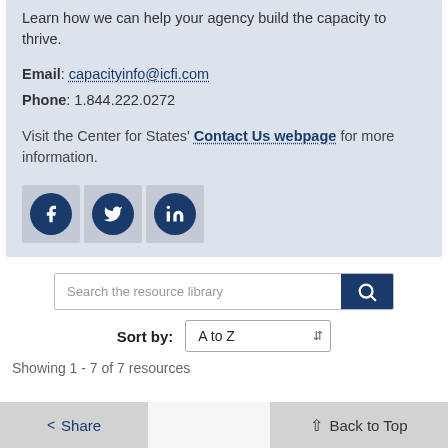Learn how we can help your agency build the capacity to thrive.
Email: capacityinfo@icfi.com
Phone: 1.844.222.0272
Visit the Center for States' Contact Us webpage for more information.
[Figure (infographic): Social media icons: Facebook, Twitter, LinkedIn circles in dark navy blue on grey square backgrounds]
Search the resource library
Sort by: A to Z
Showing 1 - 7 of 7 resources
Share   Back to Top